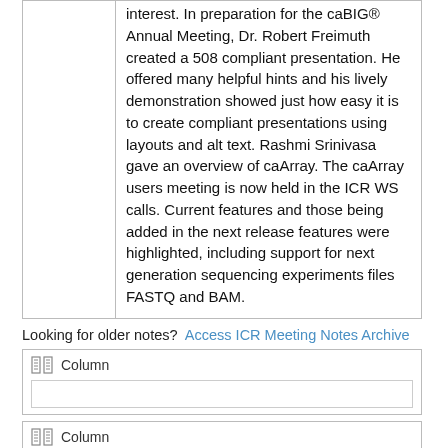interest. In preparation for the caBIG® Annual Meeting, Dr. Robert Freimuth created a 508 compliant presentation. He offered many helpful hints and his lively demonstration showed just how easy it is to create compliant presentations using layouts and alt text. Rashmi Srinivasa gave an overview of caArray. The caArray users meeting is now held in the ICR WS calls. Current features and those being added in the next release features were highlighted, including support for next generation sequencing experiments files FASTQ and BAM.
Looking for older notes?  Access ICR Meeting Notes Archive
Column
Column
Section